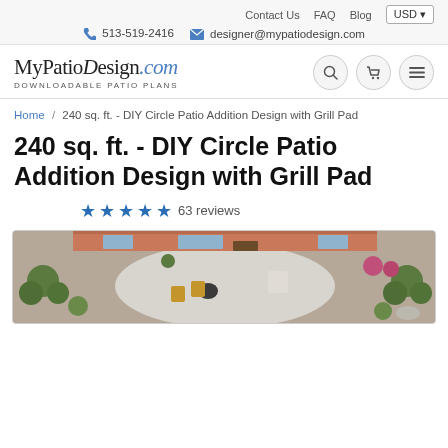Contact Us  FAQ  Blog  USD  📞 513-519-2416  ✉ designer@mypatiodesign.com
[Figure (logo): MyPatioDesign.com logo with text 'Downloadable Patio Plans' and navigation icons (search, cart, menu)]
Home / 240 sq. ft. - DIY Circle Patio Addition Design with Grill Pad
240 sq. ft. - DIY Circle Patio Addition Design with Grill Pad
★★★★★ 63 reviews
[Figure (illustration): Aerial view illustration of a circle patio design with outdoor furniture, grill pad, and surrounding landscaping with shrubs and flowers]